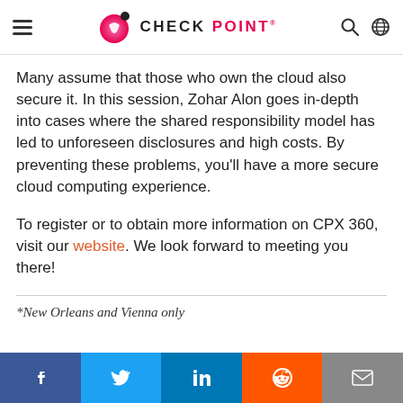CHECK POINT
Many assume that those who own the cloud also secure it. In this session, Zohar Alon goes in-depth into cases where the shared responsibility model has led to unforeseen disclosures and high costs. By preventing these problems, you'll have a more secure cloud computing experience.
To register or to obtain more information on CPX 360, visit our website. We look forward to meeting you there!
*New Orleans and Vienna only